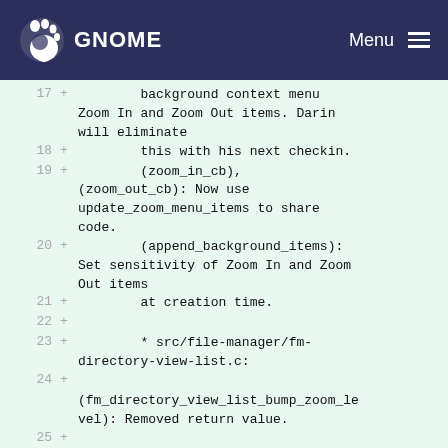GNOME Menu
17 +        background context menu Zoom In and Zoom Out items. Darin will eliminate
18 +        this with his next checkin.
19 +        (zoom_in_cb), (zoom_out_cb): Now use update_zoom_menu_items to share code.
20 +        (append_background_items): Set sensitivity of Zoom In and Zoom Out items
21 +        at creation time.
22 +
23 +        * src/file-manager/fm-directory-view-list.c:
24 +
        (fm_directory_view_list_bump_zoom_level): Removed return value.
25 +
        (fm_directory_view_list_can_zoom_in)